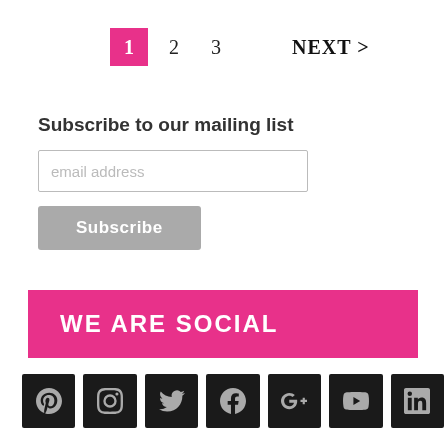1  2  3  NEXT >
Subscribe to our mailing list
email address
Subscribe
WE ARE SOCIAL
[Figure (infographic): Row of 7 social media icons (Pinterest, Instagram, Twitter, Facebook, Google+, YouTube, LinkedIn) on dark square backgrounds]